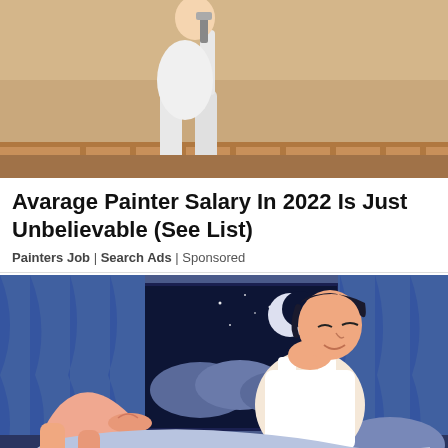[Figure (photo): A painter in white clothes painting a wall or ceiling indoors, upper body and legs visible against a beige/tan wall background with what appears to be a railing.]
Avarage Painter Salary In 2022 Is Just Unbelievable (See List)
Painters Job | Search Ads | Sponsored
[Figure (illustration): A flat-style illustration of a man in a white tank top sitting on a bed at night, with a window showing a crescent moon and stars in a dark blue sky, blue curtains, and clouds visible outside.]